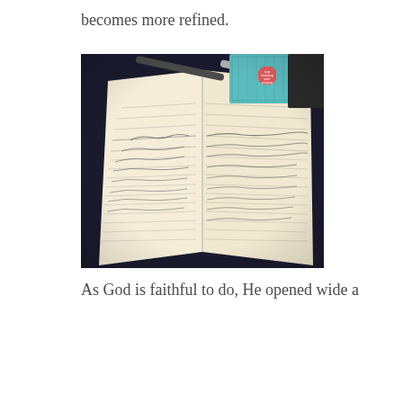becomes more refined.
[Figure (photo): An open journal/notebook with handwritten notes, a pen resting on top, and a teal patterned book with a red octagonal badge in the background reading 'stop worrying start praying'. The scene is shot on a dark surface.]
As God is faithful to do, He opened wide a